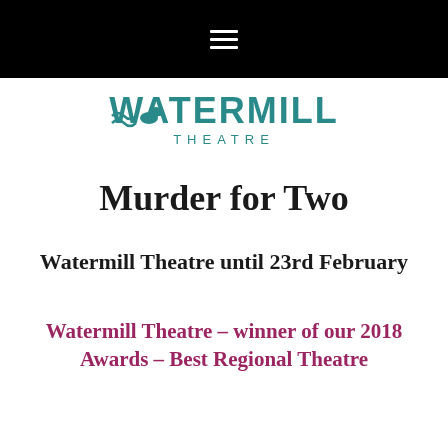[Figure (other): Black navigation bar at top with hamburger menu icon (three white horizontal lines)]
[Figure (logo): Watermill Theatre logo with teal/green stylized water and duck illustration above the text WATERMILL THEATRE in teal letters]
Murder for Two
Watermill Theatre until 23rd February
Watermill Theatre – winner of our 2018 Awards – Best Regional Theatre